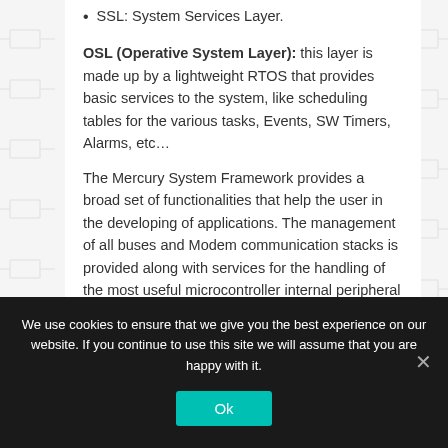SSL: System Services Layer.
OSL (Operative System Layer): this layer is made up by a lightweight RTOS that provides basic services to the system, like scheduling tables for the various tasks, Events, SW Timers, Alarms, etc…
The Mercury System Framework provides a broad set of functionalities that help the user in the developing of applications. The management of all buses and Modem communication stacks is provided along with services for the handling of the most useful microcontroller internal peripheral (RTCC, ADC, USB, Power Management, etc.). Moreover, a simple real-time OS implementation with
We use cookies to ensure that we give you the best experience on our website. If you continue to use this site we will assume that you are happy with it.